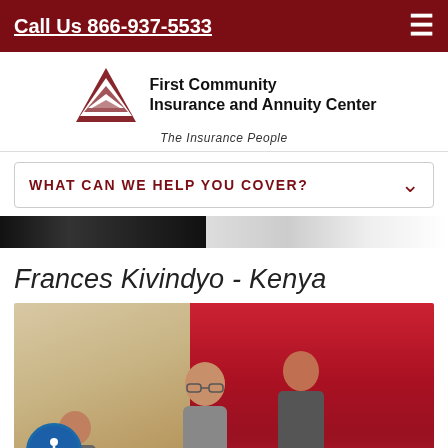Call Us 866-937-5533
[Figure (logo): First Community Insurance and Annuity Center logo with red triangle shapes and tagline 'The Insurance People']
WHAT CAN WE HELP YOU COVER?
[Figure (photo): Partial view of people at top of page, dark image strip]
Frances Kivindyo - Kenya
[Figure (photo): Photo of people in a room with tan/beige curtain on left and red curtain on right, person visible in center wearing glasses]